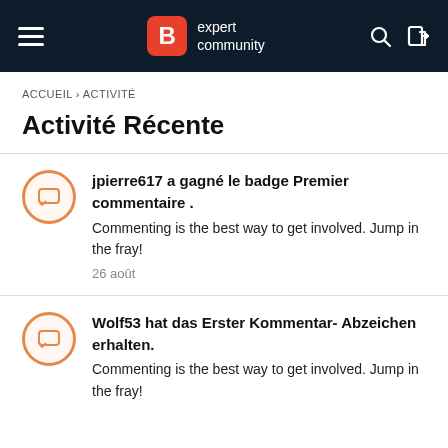B expert community
ACCUEIL › ACTIVITÉ
Activité Récente
jpierre617 a gagné le badge Premier commentaire . Commenting is the best way to get involved. Jump in the fray! 26 août
Wolf53 hat das Erster Kommentar- Abzeichen erhalten. Commenting is the best way to get involved. Jump in the fray!